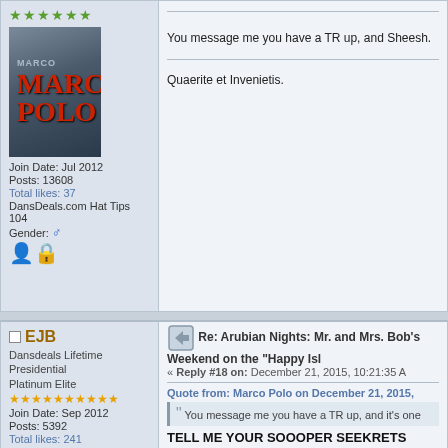[Figure (screenshot): Forum post from Marco Polo with 6 green stars, avatar showing Marco Polo movie poster, join date Jul 2012, Posts 13608, Total likes 37, DansDeals.com Hat Tips 104, Gender male icon. Post content: 'You message me you have a TR up, and... Sheesh.' and 'Quaerite et Invenietis.']
[Figure (screenshot): Forum post from EJB, Dansdeals Lifetime Presidential Platinum Elite, 10 gold stars, Join Date Sep 2012, Posts 5392, Total likes 241, DansDeals.com Hat Tips 15. Reply #18 on December 21, 2015 10:21:35. Quote from Marco Polo. TELL ME YOUR SOOOPER SEEKRETS]